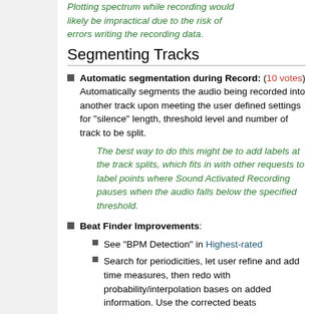Plotting spectrum while recording would likely be impractical due to the risk of errors writing the recording data.
Segmenting Tracks
Automatic segmentation during Record: (10 votes) Automatically segments the audio being recorded into another track upon meeting the user defined settings for "silence" length, threshold level and number of track to be split.
The best way to do this might be to add labels at the track splits, which fits in with other requests to label points where Sound Activated Recording pauses when the audio falls below the specified threshold.
Beat Finder Improvements:
See "BPM Detection" in Highest-rated
Search for periodicities, let user refine and add time measures, then redo with probability/interpolation bases on added information. Use the corrected beats